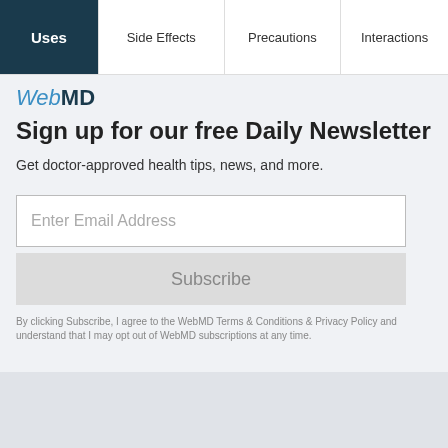Uses | Side Effects | Precautions | Interactions
[Figure (logo): WebMD logo with italic blue 'Web' and bold dark 'MD']
Sign up for our free Daily Newsletter
Get doctor-approved health tips, news, and more.
Enter Email Address
Subscribe
By clicking Subscribe, I agree to the WebMD Terms & Conditions & Privacy Policy and understand that I may opt out of WebMD subscriptions at any time.